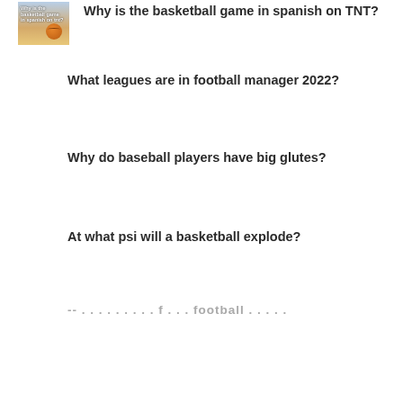[Figure (photo): Thumbnail image of a basketball on a court floor with text overlay reading 'Why is the basketball game in spanish on tnt?']
Why is the basketball game in spanish on TNT?
What leagues are in football manager 2022?
Why do baseball players have big glutes?
At what psi will a basketball explode?
...a...f...football...